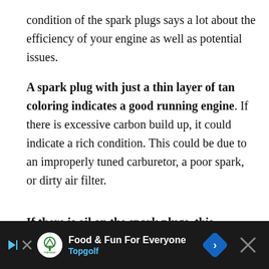condition of the spark plugs says a lot about the efficiency of your engine as well as potential issues.
A spark plug with just a thin layer of tan coloring indicates a good running engine. If there is excessive carbon build up, it could indicate a rich condition. This could be due to an improperly tuned carburetor, a poor spark, or dirty air filter.
If there is oil on the spark plugs, this indicates an internal oil leak which should be addressed immediately. Furthermore, a damaged spark plug (bent or broken electrode) indicates that the spark plug was installed incorrectly or that a mechanical fa... be fixed
[Figure (other): Advertisement banner for Topgolf - Food & Fun For Everyone, with navigation arrow icon and close button, dark background]